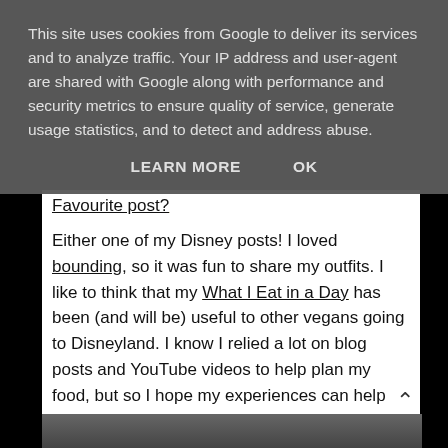This site uses cookies from Google to deliver its services and to analyze traffic. Your IP address and user-agent are shared with Google along with performance and security metrics to ensure quality of service, generate usage statistics, and to detect and address abuse.
LEARN MORE   OK
Favourite post?
Either one of my Disney posts! I loved bounding, so it was fun to share my outfits. I like to think that my What I Eat in a Day has been (and will be) useful to other vegans going to Disneyland. I know I relied a lot on blog posts and YouTube videos to help plan my food, but so I hope my experiences can help inform others. Plus, I just love talking about food so…
[Figure (photo): Partially visible photo at bottom of page, appears to show a person, dark tones]